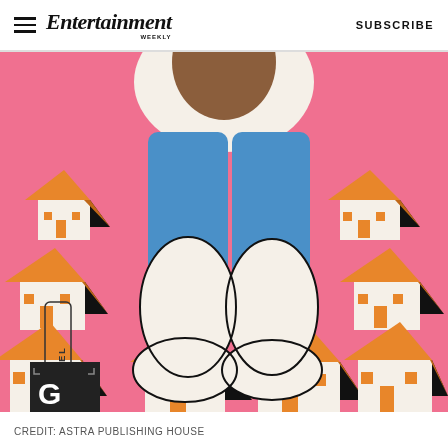Entertainment Weekly  SUBSCRIBE
[Figure (illustration): Book cover illustration on pink background showing a giant person's lower body in blue shorts and white shoes, surrounded by multiple small identical houses with orange roofs and black shadows. Bottom left corner has 'A NOVEL' text rotated vertically and a dark square with bracket/corner marks.]
CREDIT: ASTRA PUBLISHING HOUSE